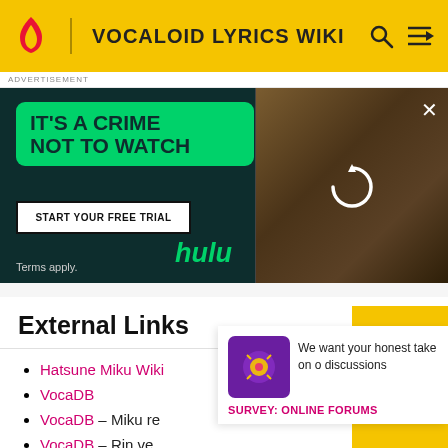VOCALOID LYRICS WIKI
[Figure (screenshot): Hulu advertisement with dark green background. Large green rounded box says 'IT'S A CRIME NOT TO WATCH'. White button says 'START YOUR FREE TRIAL'. Green 'hulu' logo text. Terms apply. Right side shows a photo of a person in a library with a reload/spinner icon overlay.]
External Links
Hatsune Miku Wiki
VocaDB
VocaDB – Miku re...
VocaDB – Rin ve...
VocaDB – Rin ren...
Len's Lyrics – Tra...
[Figure (screenshot): Survey popup card with purple icon and text 'We want your honest take on discussions' with label 'SURVEY: ONLINE FORUMS']